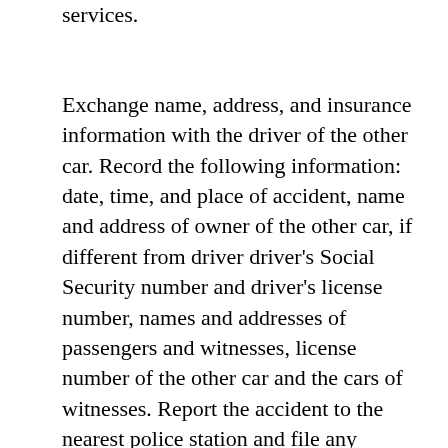services.
Exchange name, address, and insurance information with the driver of the other car. Record the following information: date, time, and place of accident, name and address of owner of the other car, if different from driver driver's Social Security number and driver's license number, names and addresses of passengers and witnesses, license number of the other car and the cars of witnesses. Report the accident to the nearest police station and file any necessary reports. Cooperate fully with the police, but do not make any admissions about your liability. Don't sign any statements for anyone other than an authorized representative of your insurance company. Promptly report the claim to